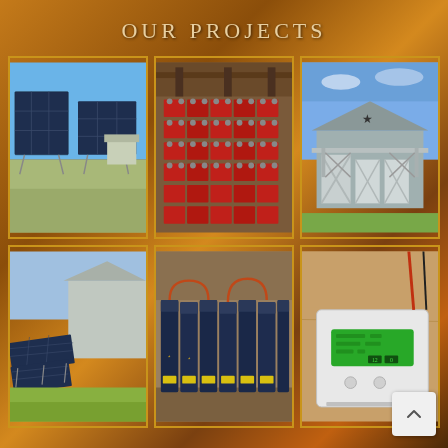OUR PROJECTS
[Figure (photo): Solar panels on ground-mounted tracking frames in a field with blue sky]
[Figure (photo): Rows of red battery banks in an indoor storage area with overhead pipes]
[Figure (photo): Gray barn-style building with a star decoration above the entrance and white cross-bar fencing]
[Figure (photo): Solar panels on ground-mounted frames next to a large metal building, green grass field]
[Figure (photo): Dark blue battery bank units lined up along a wall inside a building]
[Figure (photo): Close-up of a white inverter or charge controller unit with a green LED display panel]